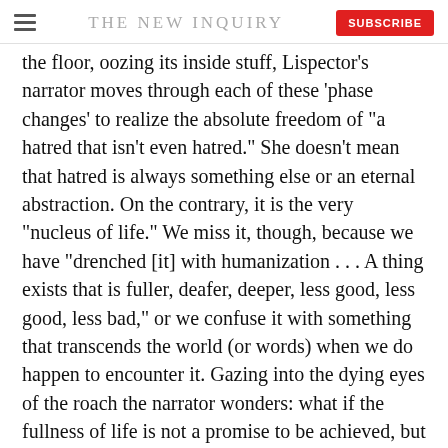THE NEW INQUIRY
the floor, oozing its inside stuff, Lispector’s narrator moves through each of these ‘phase changes’ to realize the absolute freedom of “a hatred that isn’t even hatred.” She doesn’t mean that hatred is always something else or an eternal abstraction. On the contrary, it is the very “nucleus of life.” We miss it, though, because we have “drenched [it] with humanization . . . A thing exists that is fuller, deafer, deeper, less good, less good, less bad,” or we confuse it with something that transcends the world (or words) when we do happen to encounter it. Gazing into the dying eyes of the roach the narrator wonders: what if the fullness of life is not a promise to be achieved, but